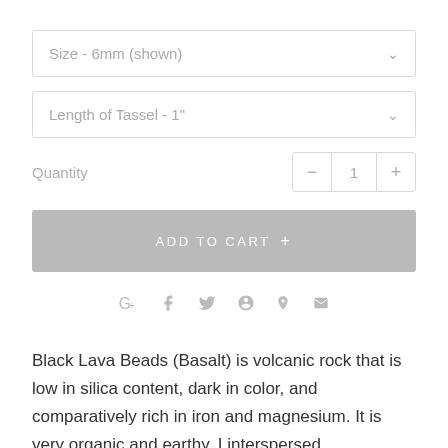Size  -  6mm (shown)
Length of Tassel  -  1"
Quantity   −  1  +
ADD TO CART  +
[Figure (infographic): Social sharing icons: Google+, Facebook, Twitter, Pinterest, Fancy, Email]
Black Lava Beads (Basalt) is volcanic rock that is low in silica content, dark in color, and comparatively rich in iron and magnesium. It is very organic and earthy. I interspersed